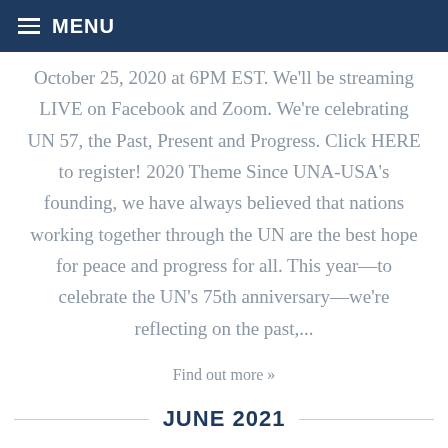MENU
October 25, 2020 at 6PM EST. We'll be streaming LIVE on Facebook and Zoom. We're celebrating UN 57, the Past, Present and Progress. Click HERE to register! 2020 Theme Since UNA-USA's founding, we have always believed that nations working together through the UN are the best hope for peace and progress for all. This year—to celebrate the UN's 75th anniversary—we're reflecting on the past,...
Find out more »
JUNE 2021